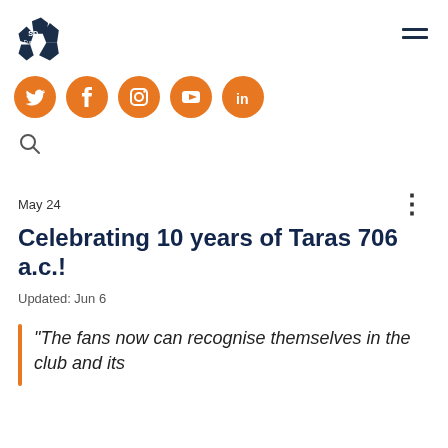[Figure (logo): SD Europe logo with soccer ball icon in dark navy and text 'SD Europe']
[Figure (infographic): Social media icons row: Twitter, Facebook, Instagram, YouTube, LinkedIn — all orange circles with white icons]
[Figure (other): Search magnifying glass icon]
May 24
Celebrating 10 years of Taras 706 a.c.!
Updated: Jun 6
“The fans now can recognise themselves in the club and its